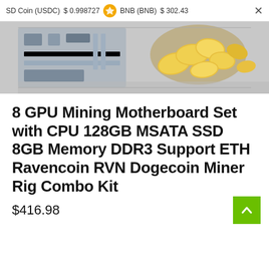SD Coin (USDC)  $ 0.998727    BNB (BNB)  $ 302.43  ×
[Figure (photo): Product photo showing a mining motherboard and golden coins on a reflective surface]
8 GPU Mining Motherboard Set with CPU 128GB MSATA SSD 8GB Memory DDR3 Support ETH Ravencoin RVN Dogecoin Miner Rig Combo Kit
$416.98